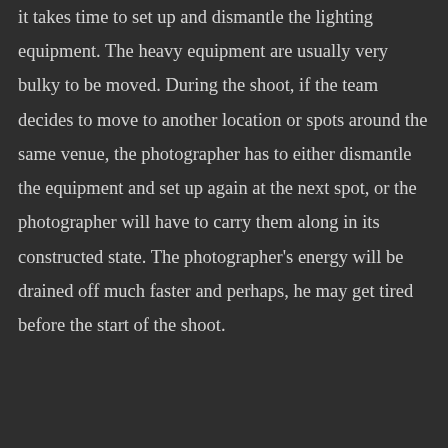it takes time to set up and dismantle the lighting equipment. The heavy equipment are usually very bulky to be moved. During the shoot, if the team decides to move to another location or spots around the same venue, the photographer has to either dismantle the equipment and set up again at the next spot, or the photographer will have to carry them along in its constructed state. The photographer's energy will be drained off much faster and perhaps, he may get tired before the start of the shoot.